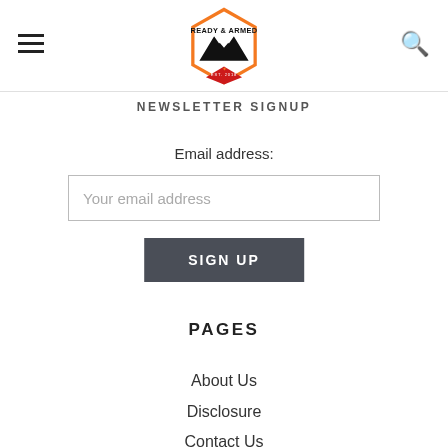Ready & Armed logo with hamburger menu and search icon
NEWSLETTER SIGNUP
Email address:
Your email address
SIGN UP
PAGES
About Us
Disclosure
Contact Us (partial)